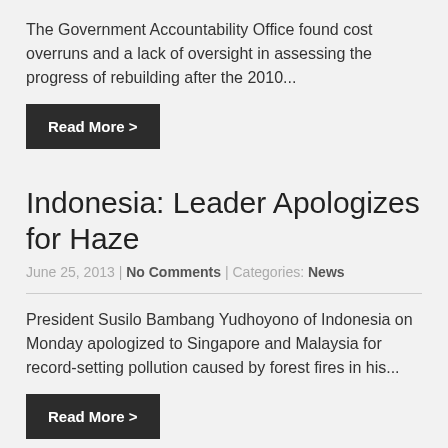The Government Accountability Office found cost overruns and a lack of oversight in assessing the progress of rebuilding after the 2010...
Read More >
Indonesia: Leader Apologizes for Haze
June 25, 2013 | No Comments | Categories: News
President Susilo Bambang Yudhoyono of Indonesia on Monday apologized to Singapore and Malaysia for record-setting pollution caused by forest fires in his...
Read More >
Wildfires Ravage Colorado, Causing Vacationers to Flee